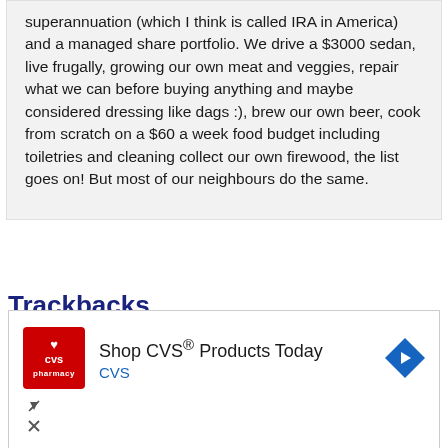superannuation (which I think is called IRA in America) and a managed share portfolio. We drive a $3000 sedan, live frugally, growing our own meat and veggies, repair what we can before buying anything and maybe considered dressing like dags :), brew our own beer, cook from scratch on a $60 a week food budget including toiletries and cleaning collect our own firewood, the list goes on! But most of our neighbours do the same.
Trackbacks
[Figure (other): CVS Pharmacy advertisement banner: red CVS logo with heart, text 'Shop CVS® Products Today' and 'CVS', with blue diamond arrow navigation icon]